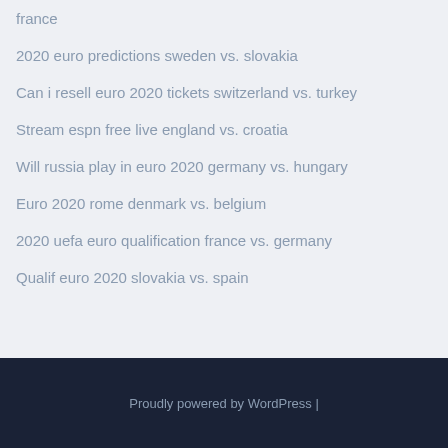france
2020 euro predictions sweden vs. slovakia
Can i resell euro 2020 tickets switzerland vs. turkey
Stream espn free live england vs. croatia
Will russia play in euro 2020 germany vs. hungary
Euro 2020 rome denmark vs. belgium
2020 uefa euro qualification france vs. germany
Qualif euro 2020 slovakia vs. spain
Proudly powered by WordPress |